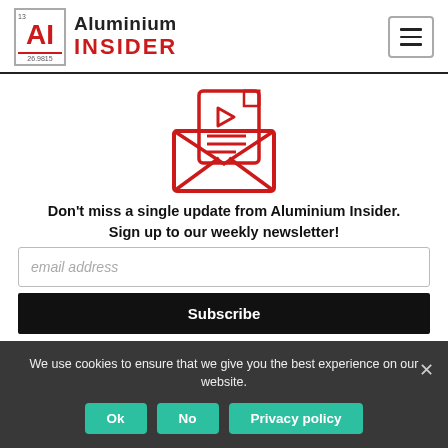[Figure (logo): Aluminium Insider logo with periodic element box showing AI symbol, atomic number 13, and mass 26.9815, alongside text Aluminium INSIDER]
[Figure (illustration): Red outline icon of an open envelope with a document/video page coming out of it]
Don't miss a single update from Aluminium Insider.
Sign up to our weekly newsletter!
email address
Subscribe
We use cookies to ensure that we give you the best experience on our website.
Ok
No
Privacy policy